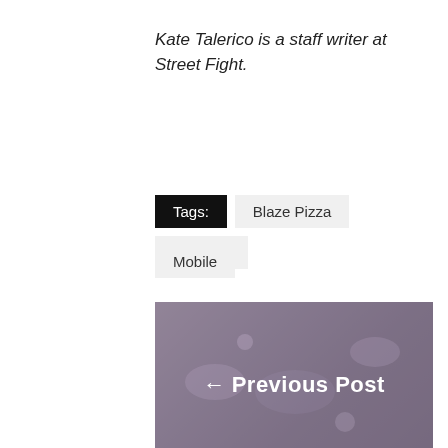Kate Talerico is a staff writer at Street Fight.
Tags: Blaze Pizza Location
Mobile
[Figure (photo): Previous Post navigation block with blurred cosmetics/flowers background image and left arrow]
Influenster Launches Solution to Help Brands Leverage Organic Reviews
April 25, 2018